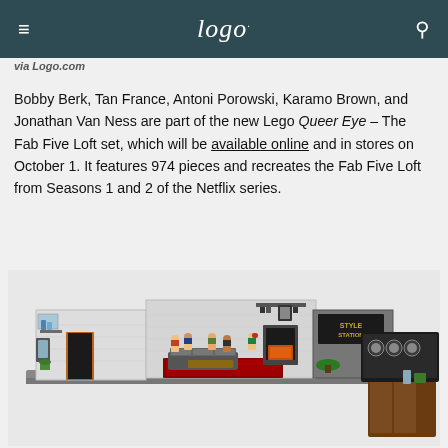Logo.
via Logo.com
Bobby Berk, Tan France, Antoni Porowski, Karamo Brown, and Jonathan Van Ness are part of the new Lego Queer Eye – The Fab Five Loft set, which will be available online and in stores on October 1. It features 974 pieces and recreates the Fab Five Loft from Seasons 1 and 2 of the Netflix series.
[Figure (photo): Photo of the Lego Queer Eye – The Fab Five Loft set showing minifigures of the Fab Five in a detailed loft interior with living room, kitchen, and style bar areas.]